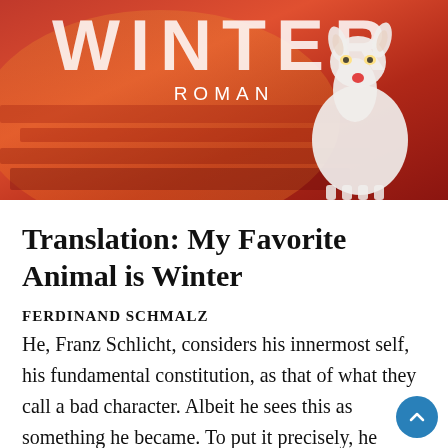[Figure (illustration): Book cover image with red/orange background showing the word WINTER in large white letters at the top, 'ROMAN' in smaller white letters below it, and a white deer with glowing eyes on the right side.]
Translation: My Favorite Animal is Winter
FERDINAND SCHMALZ
He, Franz Schlicht, considers his innermost self, his fundamental constitution, as that of what they call a bad character. Albeit he sees this as something he became. To put it precisely, he thinks of his own fate as having started